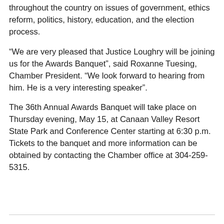throughout the country on issues of government, ethics reform, politics, history, education, and the election process.
“We are very pleased that Justice Loughry will be joining us for the Awards Banquet”, said Roxanne Tuesing, Chamber President. “We look forward to hearing from him. He is a very interesting speaker”.
The 36th Annual Awards Banquet will take place on Thursday evening, May 15, at Canaan Valley Resort State Park and Conference Center starting at 6:30 p.m. Tickets to the banquet and more information can be obtained by contacting the Chamber office at 304-259-5315.